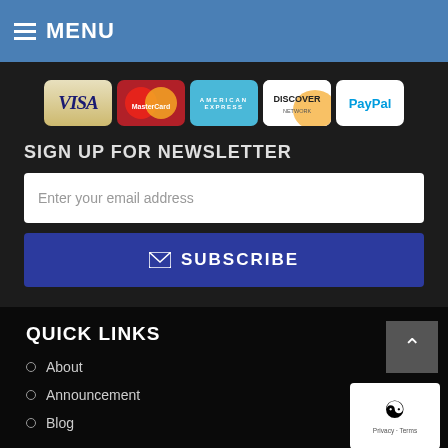MENU
[Figure (logo): Payment method logos: VISA, MasterCard, American Express, Discover Network, PayPal]
SIGN UP FOR NEWSLETTER
Enter your email address
SUBSCRIBE
QUICK LINKS
About
Announcement
Blog